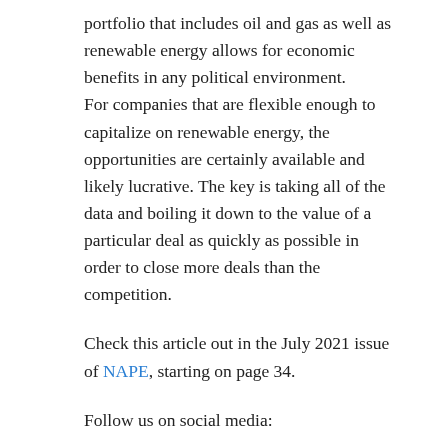portfolio that includes oil and gas as well as renewable energy allows for economic benefits in any political environment. For companies that are flexible enough to capitalize on renewable energy, the opportunities are certainly available and likely lucrative. The key is taking all of the data and boiling it down to the value of a particular deal as quickly as possible in order to close more deals than the competition.
Check this article out in the July 2021 issue of NAPE, starting on page 34.
Follow us on social media:
[Figure (logo): Social media icons: Facebook, Twitter, Instagram, YouTube, LinkedIn]